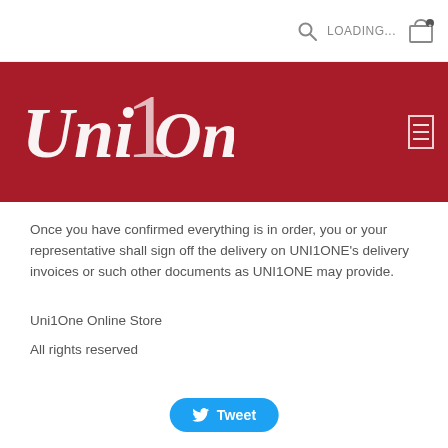LOADING...
[Figure (logo): Uni1One logo — stylized cursive text 'Uni1One' in white on dark red background]
Once you have confirmed everything is in order, you or your representative shall sign off the delivery on UNI1ONE's delivery invoices or such other documents as UNI1ONE may provide.
Uni1One Online Store
All rights reserved
[Figure (other): Tweet button — blue rounded button with Twitter bird icon and 'Tweet' text]